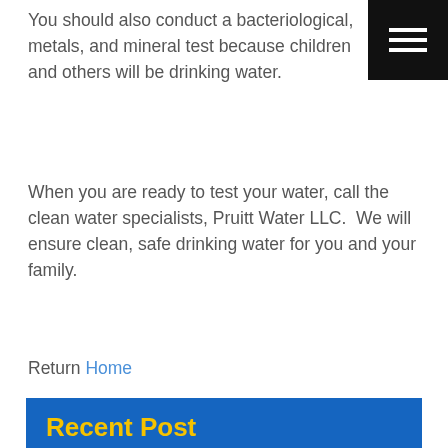You should also conduct a bacteriological, metals, and mineral test because children and others will be drinking water.
When you are ready to test your water, call the clean water specialists, Pruitt Water LLC.  We will ensure clean, safe drinking water for you and your family.
Return Home
Categories
Uncategorized
water treatment
Well Drilling
Recent Post